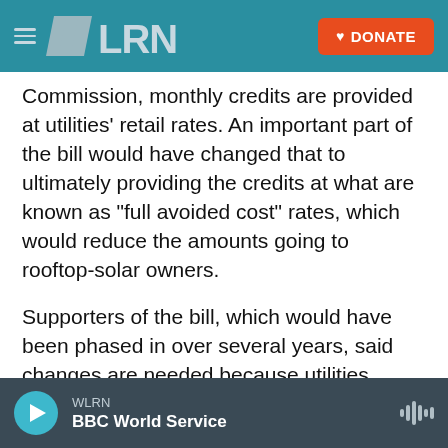WLRN | DONATE
Commission, monthly credits are provided at utilities' retail rates. An important part of the bill would have changed that to ultimately providing the credits at what are known as “full avoided cost” rates, which would reduce the amounts going to rooftop-solar owners.
Supporters of the bill, which would have been phased in over several years, said changes are needed because utilities continue to face the overall costs of operating the electrical grid. They said the current system of rooftop-solar credits has shifted more overall utility costs to people who do
WLRN | BBC World Service